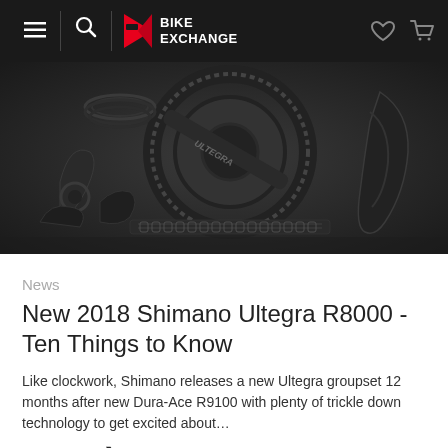BikeExchange navigation bar with hamburger menu, search, logo, heart icon, and cart icon
[Figure (photo): Close-up photo of Shimano Ultegra R8000 groupset components (chainring, rear derailleur, chain, shifter) laid out on a dark surface]
News
New 2018 Shimano Ultegra R8000 - Ten Things to Know
Like clockwork, Shimano releases a new Ultegra groupset 12 months after new Dura-Ace R9100 with plenty of trickle down technology to get excited about…
Read more ›